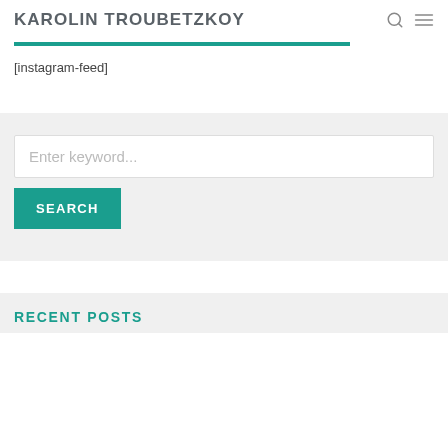KAROLIN TROUBETZKOY
[instagram-feed]
[Figure (screenshot): Search widget with text input placeholder 'Enter keyword...' and a teal SEARCH button]
RECENT POSTS